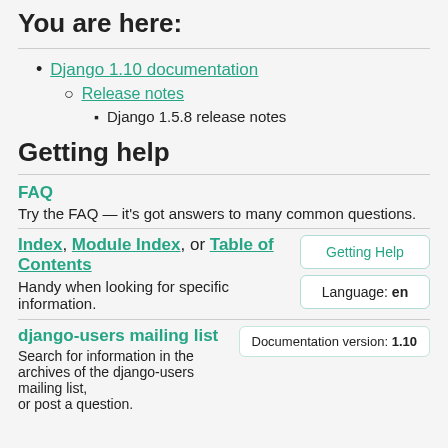You are here:
Django 1.10 documentation
Release notes
Django 1.5.8 release notes
Getting help
FAQ
Try the FAQ — it's got answers to many common questions.
Index, Module Index, or Table of Contents
Handy when looking for specific information.
Getting Help
Language: en
django-users mailing list
Documentation version: 1.10
Search for information in the archives of the django-users mailing list, or post a question.